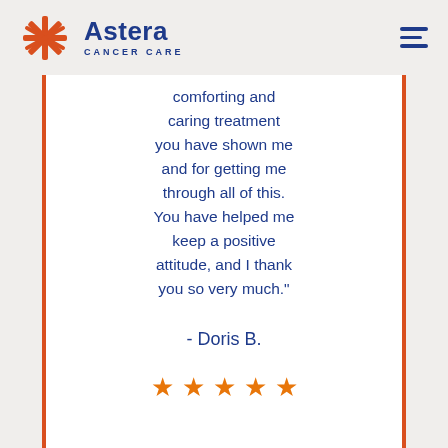[Figure (logo): Astera Cancer Care logo with orange starburst/asterisk icon and dark blue text]
comforting and caring treatment you have shown me and for getting me through all of this. You have helped me keep a positive attitude, and I thank you so very much."
- Doris B.
[Figure (other): Five orange star rating icons]